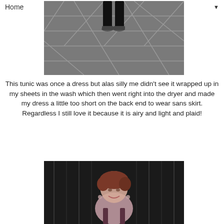Home ▼
[Figure (photo): Bottom portion of a person standing on stone pavement tiles, showing only their legs and sneakers from about knee-height down, black and white photo]
This tunic was once a dress but alas silly me didn't see it wrapped up in my sheets in the wash which then went right into the dryer and made my dress a little too short on the back end to wear sans skirt. Regardless I still love it because it is airy and light and plaid!
[Figure (photo): A young woman with short reddish hair smiling at the camera, wearing a light-colored top with dark decorative straps, photographed against a dark background with vertical lines]